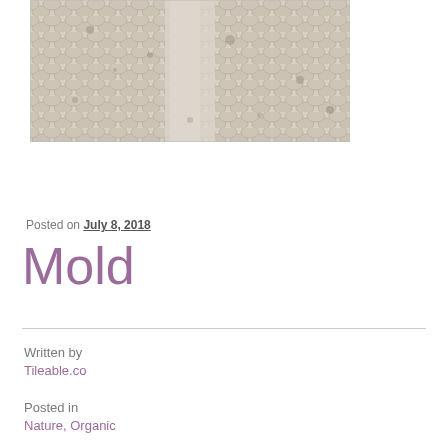[Figure (photo): Close-up photograph of a textured mold/tile surface showing a repeating scale or honeycomb-like pattern in beige and grey tones with mold spots]
Posted on July 8, 2018
Mold
Written by
Tileable.co
Posted in
Nature, Organic